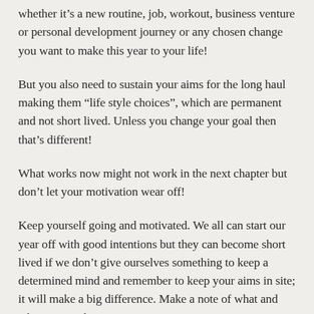whether it's a new routine, job, workout, business venture or personal development journey or any chosen change you want to make this year to your life!
But you also need to sustain your aims for the long haul making them “life style choices”, which are permanent and not short lived. Unless you change your goal then that’s different!
What works now might not work in the next chapter but don’t let your motivation wear off!
Keep yourself going and motivated. We all can start our year off with good intentions but they can become short lived if we don’t give ourselves something to keep a determined mind and remember to keep your aims in site; it will make a big difference. Make a note of what and why you are doing this for and it will help to push you to meet your life style changes.